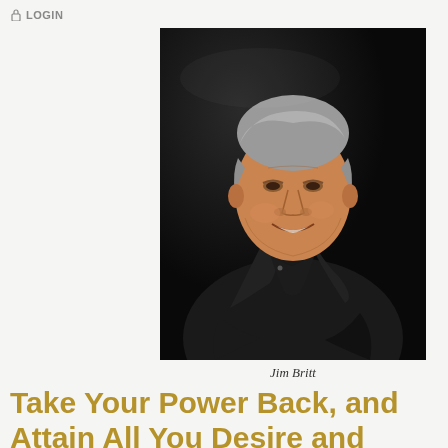LOGIN
[Figure (photo): Jim Britt, an older man with silver-grey hair, wearing a black blazer over a dark shirt, smiling and slightly turned, against a dark background. Stage lighting illuminates him from the left.]
Jim Britt
Take Your Power Back, and Attain All You Desire and Deserve